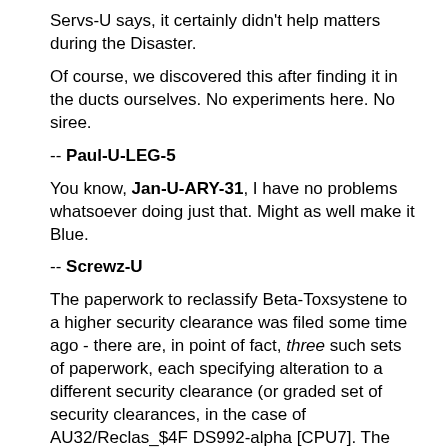Servs-U says, it certainly didn't help matters during the Disaster.
Of course, we discovered this after finding it in the ducts ourselves. No experiments here. No siree.
-- Paul-U-LEG-5
You know, Jan-U-ARY-31, I have no problems whatsoever doing just that. Might as well make it Blue.
-- Screwz-U
The paperwork to reclassify Beta-Toxsystene to a higher security clearance was filed some time ago - there are, in point of fact, three such sets of paperwork, each specifying alteration to a different security clearance (or graded set of security clearances, in the case of AU32/Reclas_$4F DS992-alpha [CPU7]. The conflicting multi-part redundancy is directly responsible for the ensuing processing time. I remind all High Programmers that the standing CPU recommendation is to routinely submit a Annulment Contingency Rider along with forms of any notable thickness.
-- Err-U-DYT